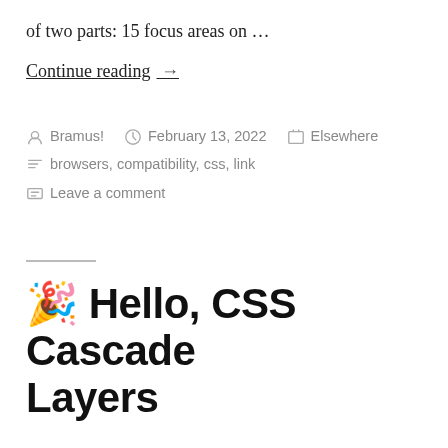of two parts: 15 focus areas on …
Continue reading →
By Bramus!  February 13, 2022  Elsewhere  browsers, compatibility, css, link  Leave a comment
🎉 Hello, CSS Cascade Layers